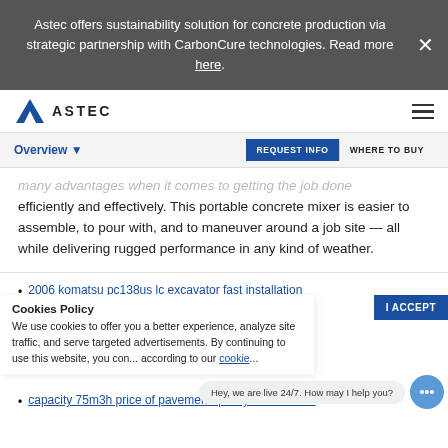Astec offers sustainability solution for concrete production via strategic partnership with CarbonCure technologies. Read more here.
[Figure (logo): Astec logo with blue A mark and ASTEC text]
Overview ▼
REQUEST INFO | WHERE TO BUY
many advantages when it comes to getting the job done efficiently and effectively. This portable concrete mixer is easier to assemble, to pour with, and to maneuver around a job site — all while delivering rugged performance in any kind of weather.
2006 komatsu pc138us lc excavator fast installation
hzs120c free foundation container concrete
creep of cracked fiber reinforced concrete 4...
Cookies Policy
We use cookies to offer you a better experience, analyze site traffic, and serve targeted advertisements. By continuing to use this website, you con... according to our cookie...
Hey, we are live 24/7. How may I help you?
capacity 75m3h price of pavement quality concrete for